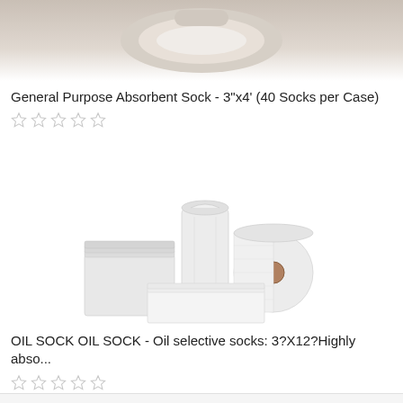[Figure (photo): Product photo of a General Purpose Absorbent Sock]
General Purpose Absorbent Sock - 3"x4' (40 Socks per Case)
[Figure (other): Five empty star rating icons]
[Figure (photo): Product photo showing absorbent pads, a roll, and socks in white]
OIL SOCK OIL SOCK - Oil selective socks: 3?X12?Highly abso...
[Figure (other): Five empty star rating icons]